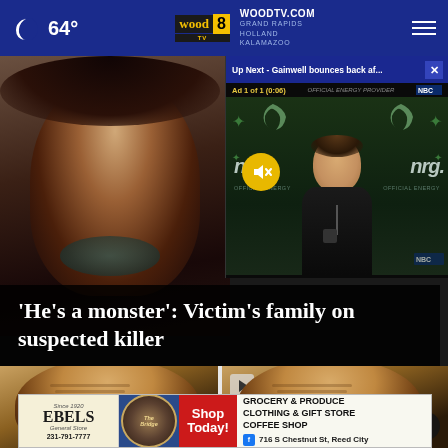64° WOODTV.COM GRAND RAPIDS HOLLAND KALAMAZOO
[Figure (screenshot): News website screenshot showing a video overlay for 'Up Next - Gainwell bounces back af...' with Ad 1 of 1 (0:06), Philadelphia Eagles NRG press conference background with mute button, overlaid on a blurred background image of a person]
'He's a monster': Victim's family on suspected killer
[Figure (photo): Thumbnail image of a person with blond hair, close-up face shot]
[Figure (photo): Thumbnail image of a person with blond hair, close-up face shot with play button and close button overlay]
[Figure (infographic): Advertisement banner for Ebels General Store and The Bridge: 'GROCERY & PRODUCE CLOTHING & GIFT STORE COFFEE SHOP, Shop Today!, 231-791-7777, 716 S Chestnut St, Reed City']